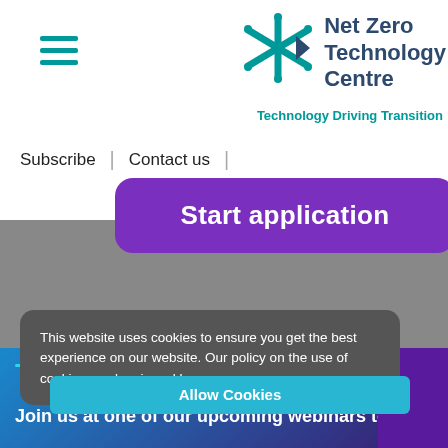[Figure (logo): Net Zero Technology Centre logo with teal star/arrow icon]
Net Zero Technology Centre
Technology Driving Transition
Subscribe  |  Contact us  |
Start application
This website uses cookies to ensure you get the best experience on our website. Our policy on the use of cookies can be viewed here
Eligibility criteria
Allow Cookies
Thinking about applying?
Join us at one of our upcoming webinars to